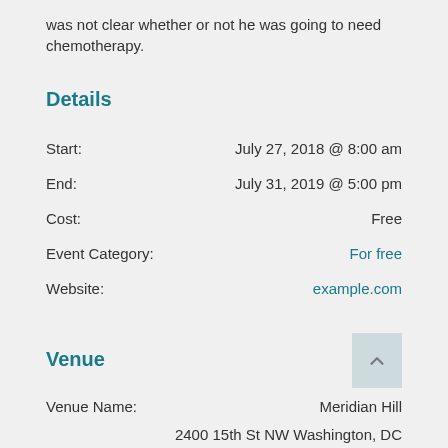was not clear whether or not he was going to need chemotherapy.
Details
Start: July 27, 2018 @ 8:00 am
End: July 31, 2019 @ 5:00 pm
Cost: Free
Event Category: For free
Website: example.com
Venue
Venue Name: Meridian Hill
2400 15th St NW Washington, DC